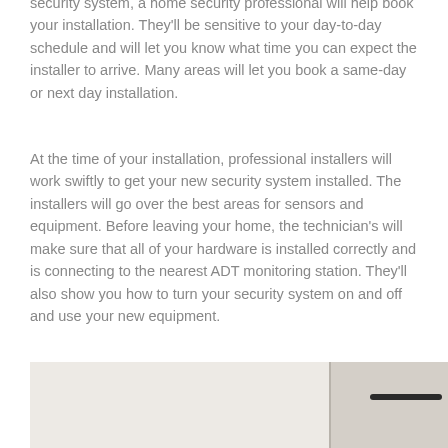security system, a home security professional will help book your installation. They'll be sensitive to your day-to-day schedule and will let you know what time you can expect the installer to arrive. Many areas will let you book a same-day or next day installation.
At the time of your installation, professional installers will work swiftly to get your new security system installed. The installers will go over the best areas for sensors and equipment. Before leaving your home, the technician's will make sure that all of your hardware is installed correctly and is connecting to the nearest ADT monitoring station. They'll also show you how to turn your security system on and off and use your new equipment.
[Figure (photo): Partial view of a door with a dark horizontal handle bar, against a light beige/cream background]